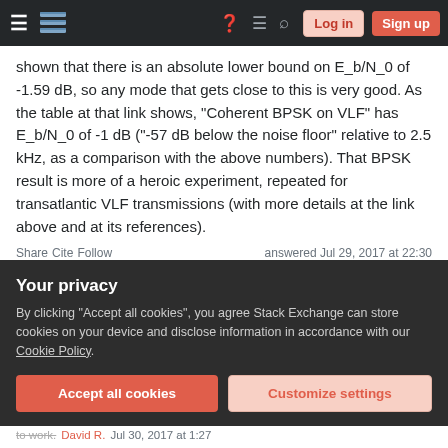Stack Exchange navigation bar with Log in and Sign up buttons
shown that there is an absolute lower bound on E_b/N_0 of -1.59 dB, so any mode that gets close to this is very good. As the table at that link shows, "Coherent BPSK on VLF" has E_b/N_0 of -1 dB ("-57 dB below the noise floor" relative to 2.5 kHz, as a comparison with the above numbers). That BPSK result is more of a heroic experiment, repeated for transatlantic VLF transmissions (with more details at the link above and at its references).
Share  Cite  Follow  answered Jul 29, 2017 at 22:30
Your privacy
By clicking "Accept all cookies", you agree Stack Exchange can store cookies on your device and disclose information in accordance with our Cookie Policy.
Accept all cookies  Customize settings
to work.  David R.  Jul 30, 2017 at 1:27